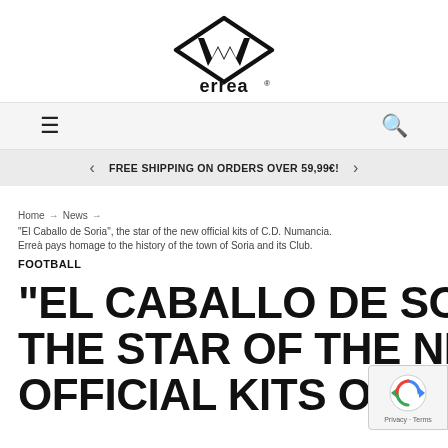[Figure (logo): Erreà logo — diamond/rhombus shape with stylized W inside, with 'erreà' wordmark below in bold black font and registered trademark symbol]
FREE SHIPPING ON ORDERS OVER 59,99€!
Home → News → “El Caballo de Soria”, the star of the new official kits of C.D. Numancia. Erreà pays homage to the history of the town of Soria and its Club.
FOOTBALL
“EL CABALLO DE SORIA” THE STAR OF THE NEW OFFICIAL KITS OF C.D.